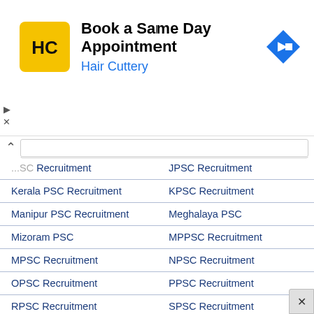[Figure (screenshot): Hair Cuttery advertisement banner: logo with HC monogram on yellow background, text 'Book a Same Day Appointment' and 'Hair Cuttery' in blue, blue diamond navigation icon on right]
| SC Recruitment | JPSC Recruitment |
| Kerala PSC Recruitment | KPSC Recruitment |
| Manipur PSC Recruitment | Meghalaya PSC |
| Mizoram PSC | MPPSC Recruitment |
| MPSC Recruitment | NPSC Recruitment |
| OPSC Recruitment | PPSC Recruitment |
| RPSC Recruitment | SPSC Recruitment |
| TNPSC Recruitment | Tripura PSC Recruitment |
| TSPSC Recruitment | UKPSC Recruitment |
| UPPSC Recruitment | WBPSC Recruitment |